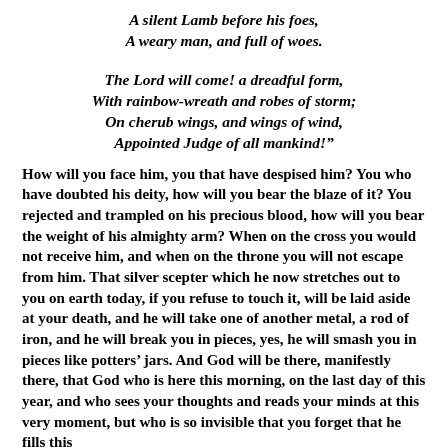A silent Lamb before his foes,
A weary man, and full of woes.

The Lord will come! a dreadful form,
With rainbow-wreath and robes of storm;
On cherub wings, and wings of wind,
Appointed Judge of all mankind!"
How will you face him, you that have despised him? You who have doubted his deity, how will you bear the blaze of it? You rejected and trampled on his precious blood, how will you bear the weight of his almighty arm? When on the cross you would not receive him, and when on the throne you will not escape from him. That silver scepter which he now stretches out to you on earth today, if you refuse to touch it, will be laid aside at your death, and he will take one of another metal, a rod of iron, and he will break you in pieces, yes, he will smash you in pieces like potters’ jars. And God will be there, manifestly there, that God who is here this morning, on the last day of this year, and who sees your thoughts and reads your minds at this very moment, but who is so invisible that you forget that he fills this